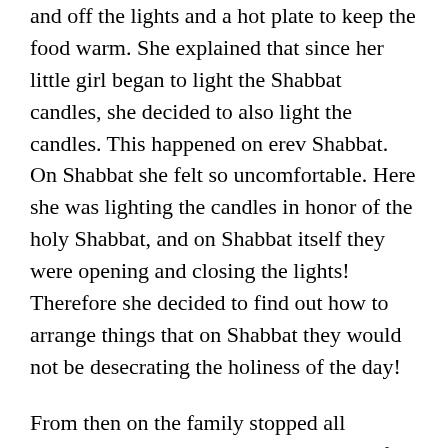and off the lights and a hot plate to keep the food warm. She explained that since her little girl began to light the Shabbat candles, she decided to also light the candles. This happened on erev Shabbat. On Shabbat she felt so uncomfortable. Here she was lighting the candles in honor of the holy Shabbat, and on Shabbat itself they were opening and closing the lights! Therefore she decided to find out how to arrange things that on Shabbat they would not be desecrating the holiness of the day!
From then on the family stopped all activities connected to the desecration of Shabbat, and slowly slowly they returned to a fully Jewish lifestyle and the observance of mitzvot. The mother began to observe the laws of family purity (mikvah) and in a short time, they even switched their children to Torah schools.
In this case it was the children with the help of